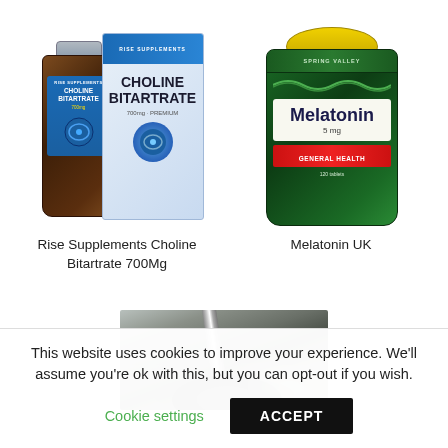[Figure (photo): Rise Supplements Choline Bitartrate product — dark amber bottle with blue label and blue product box]
Rise Supplements Choline Bitartrate 700Mg
[Figure (photo): Melatonin UK supplement bottle — green bottle with yellow cap, Melatonin 5mg General Health label, 120 tablets]
Melatonin UK
[Figure (photo): Close-up photo of a needle or dropper over a bowl or mortar]
This website uses cookies to improve your experience. We'll assume you're ok with this, but you can opt-out if you wish.
Cookie settings
ACCEPT